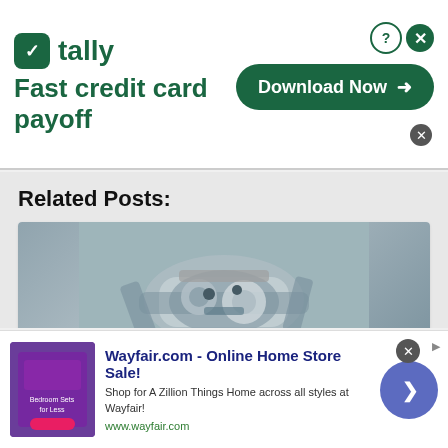[Figure (infographic): Tally app advertisement banner: logo with green icon, text 'tally Fast credit card payoff', Download Now button on right with help and close icons]
Related Posts:
[Figure (photo): 3D rendered image of IL-2 Sturmovik aircraft engine/cockpit area close-up, gray background]
IL-2 Sturmovik Retrospective:
[Figure (photo): Partially visible photo of airplane in flight against blue sky]
[Figure (infographic): Wayfair.com advertisement: Online Home Store Sale! Shop for A Zillion Things Home across all styles at Wayfair! www.wayfair.com]